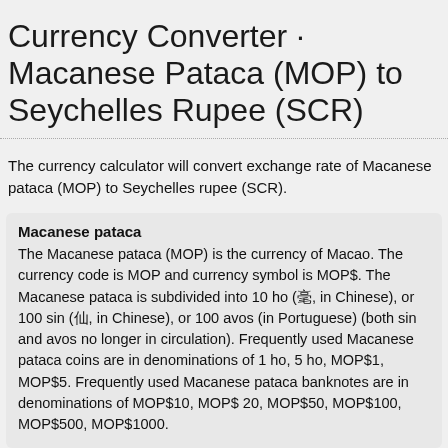Currency Converter · Macanese Pataca (MOP) to Seychelles Rupee (SCR)
The currency calculator will convert exchange rate of Macanese pataca (MOP) to Seychelles rupee (SCR).
Macanese pataca
The Macanese pataca (MOP) is the currency of Macao. The currency code is MOP and currency symbol is MOP$. The Macanese pataca is subdivided into 10 ho (毫, in Chinese), or 100 sin (仙, in Chinese), or 100 avos (in Portuguese) (both sin and avos no longer in circulation). Frequently used Macanese pataca coins are in denominations of 1 ho, 5 ho, MOP$1, MOP$5. Frequently used Macanese pataca banknotes are in denominations of MOP$10, MOP$ 20, MOP$50, MOP$100, MOP$500, MOP$1000.
Seychelles rupee